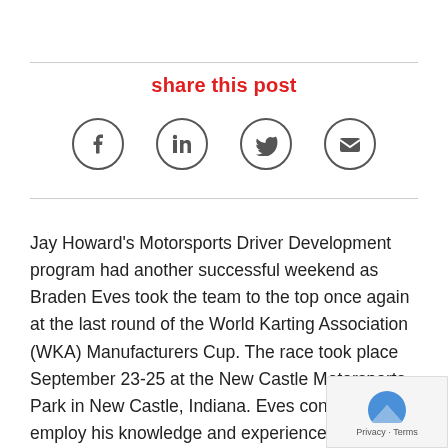share this post
[Figure (infographic): Social share icons: Facebook, LinkedIn, Twitter, Email]
Jay Howard’s Motorsports Driver Development program had another successful weekend as Braden Eves took the team to the top once again at the last round of the World Karting Association (WKA) Manufacturers Cup. The race took place September 23-25 at the New Castle Motorsports Park in New Castle, Indiana. Eves continued to employ his knowledge and experience gained from coach Jay Howard this past weekend and emerged victorious.